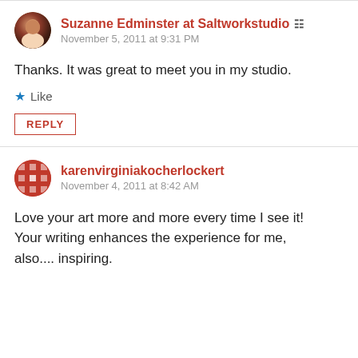Suzanne Edminster at Saltworkstudio
November 5, 2011 at 9:31 PM
Thanks. It was great to meet you in my studio.
Like
REPLY
karenvirginiakocherlockert
November 4, 2011 at 8:42 AM
Love your art more and more every time I see it! Your writing enhances the experience for me, also.... inspiring.